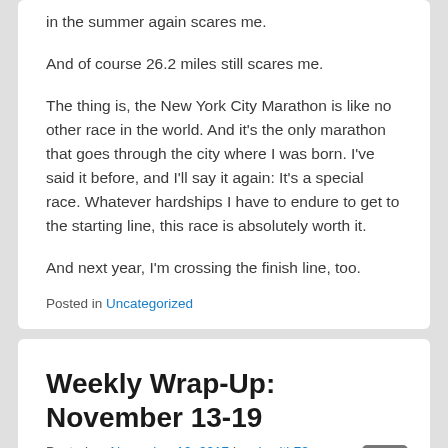in the summer again scares me.
And of course 26.2 miles still scares me.
The thing is, the New York City Marathon is like no other race in the world. And it's the only marathon that goes through the city where I was born. I've said it before, and I'll say it again: It's a special race. Whatever hardships I have to endure to get to the starting line, this race is absolutely worth it.
And next year, I'm crossing the finish line, too.
Posted in Uncategorized
Weekly Wrap-Up: November 13-19
Posted on November 19, 2017 by pjsmith73
It to d b t th l t t d l t d fi ll f d